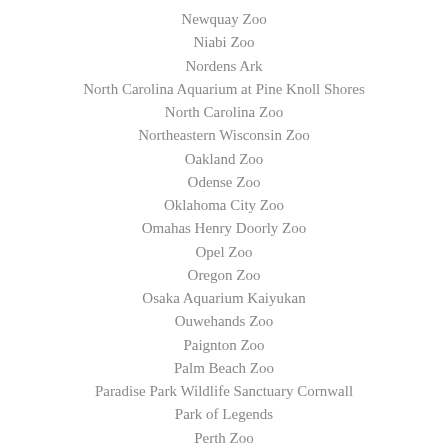Newquay Zoo
Niabi Zoo
Nordens Ark
North Carolina Aquarium at Pine Knoll Shores
North Carolina Zoo
Northeastern Wisconsin Zoo
Oakland Zoo
Odense Zoo
Oklahoma City Zoo
Omahas Henry Doorly Zoo
Opel Zoo
Oregon Zoo
Osaka Aquarium Kaiyukan
Ouwehands Zoo
Paignton Zoo
Palm Beach Zoo
Paradise Park Wildlife Sanctuary Cornwall
Park of Legends
Perth Zoo